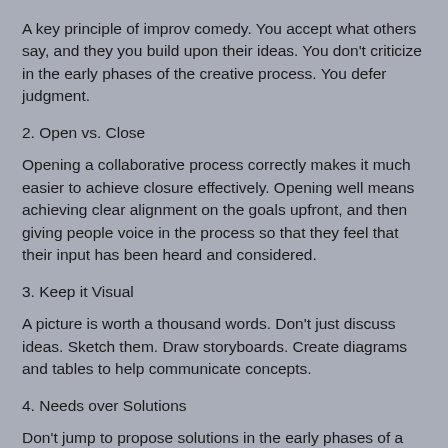A key principle of improv comedy.  You accept what others say, and they you build upon their ideas.  You don't criticize in the early phases of the creative process.   You defer judgment.
2. Open vs. Close
Opening a collaborative process correctly makes it much easier to achieve closure effectively.  Opening well means achieving clear alignment on the goals upfront, and then giving people voice in the process so that they feel that their input has been heard and considered.
3. Keep it Visual
A picture is worth a thousand words.  Don't just discuss ideas.  Sketch them. Draw storyboards.  Create diagrams and tables to help communicate concepts.
4. Needs over Solutions
Don't jump to propose solutions in the early phases of a